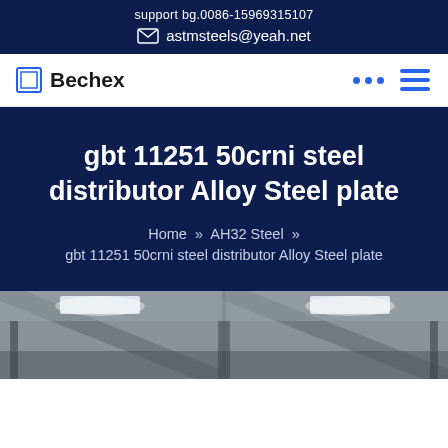support bg.0086-15969315107
astmsteels@yeah.net
Bechex
gbt 11251 50crni steel distributor Alloy Steel plate
Home » AH32 Steel » gbt 11251 50crni steel distributor Alloy Steel plate
[Figure (photo): Interior of a steel warehouse or factory with roof trusses and skylights visible from below]